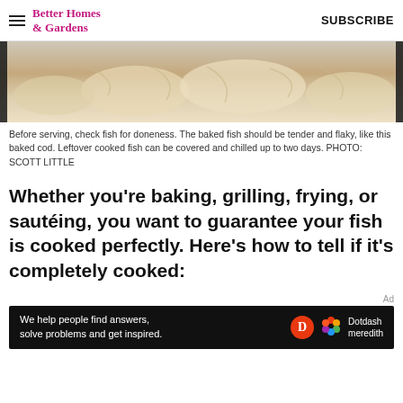Better Homes & Gardens — SUBSCRIBE
[Figure (photo): Close-up photo of baked cod fish, tender and flaky, showing the texture of the cooked fish with dark utensils visible at edges]
Before serving, check fish for doneness. The baked fish should be tender and flaky, like this baked cod. Leftover cooked fish can be covered and chilled up to two days. PHOTO: SCOTT LITTLE
Whether you're baking, grilling, frying, or sautéing, you want to guarantee your fish is cooked perfectly. Here's how to tell if it's completely cooked:
[Figure (other): Dotdash Meredith advertisement banner — We help people find answers, solve problems and get inspired.]